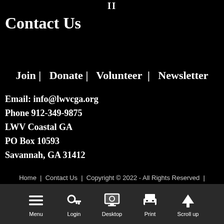II
Contact Us
Join |   Donate |   Volunteer  |   Newsletter
Email: info@lwvcga.org
Phone 912-349-9875
LWV Coastal GA
PO Box 10593
Savannah, GA 31412
Home  |   Contact Us  |  Copyright © 2022 - All Rights Reserved  |  Terms of Use   Privacy Policy
[Figure (infographic): Bottom navigation bar with Menu, Login, Desktop, Print, and Scroll up icons]